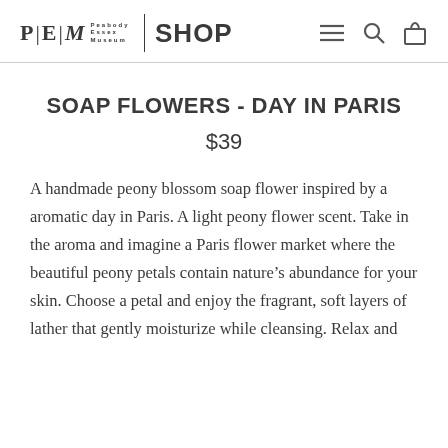PEM Peabody Essex Museum | SHOP
SOAP FLOWERS - DAY IN PARIS
$39
A handmade peony blossom soap flower inspired by a aromatic day in Paris. A light peony flower scent. Take in the aroma and imagine a Paris flower market where the beautiful peony petals contain nature’s abundance for your skin. Choose a petal and enjoy the fragrant, soft layers of lather that gently moisturize while cleansing. Relax and